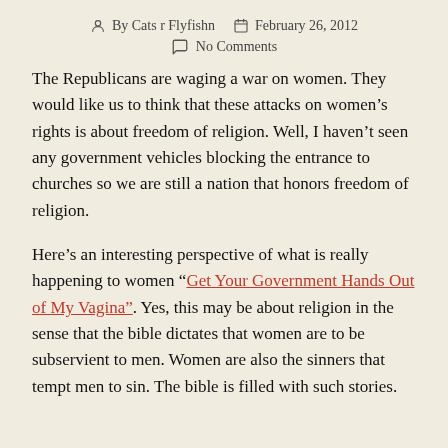By Cats r Flyfishn   February 26, 2012
No Comments
The Republicans are waging a war on women.  They would like us to think that these attacks on women’s rights is about freedom of religion.  Well, I haven’t seen any government vehicles blocking the entrance to churches so we are still a nation that honors freedom of religion.
Here’s an interesting perspective of what is really happening to women “Get Your Government Hands Out of My Vagina”.   Yes, this may be about religion in the sense that the bible dictates that women are to be subservient to men.  Women are also the sinners that tempt men to sin.  The bible is filled with such stories.